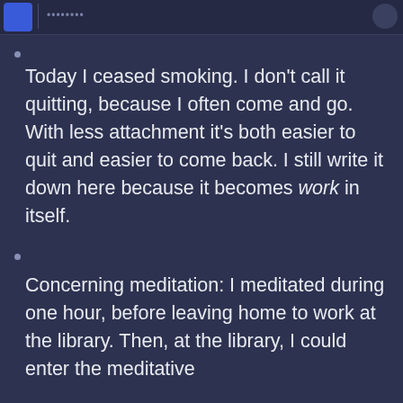Today I ceased smoking. I don't call it quitting, because I often come and go. With less attachment it's both easier to quit and easier to come back. I still write it down here because it becomes work in itself.
Concerning meditation: I meditated during one hour, before leaving home to work at the library. Then, at the library, I could enter the meditative